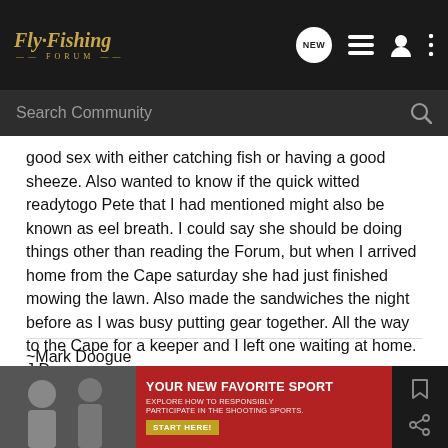Fly-Fishing Forum
good sex with either catching fish or having a good sheeze. Also wanted to know if the quick witted readytogo Pete that I had mentioned might also be known as eel breath. I could say she should be doing things other than reading the Forum, but when I arrived home from the Cape saturday she had just finished mowing the lawn. Also made the sandwiches the night before as I was busy putting gear together. All the way to the Cape for a keeper and I left one waiting at home. J.D.
~Mark Doogue
[Figure (screenshot): Advertisement banner: YOUR NEW FAVORITE SPORT - EXPLORE HOW TO RESPONSIBLY PARTICIPATE IN THE SHOOTING SPORTS. START HERE!]